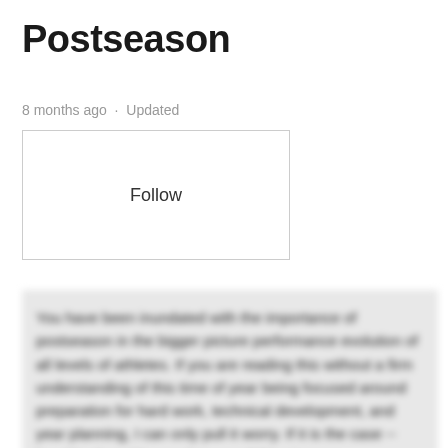Postseason
8 months ago · Updated
[Figure (other): A rectangular button-style box with the word 'Follow' centered inside, with a thin border.]
You have been inundated with the importance of postseason in the bigger picture performance evolution of all levels of athletes. If you are reading this without a firm understanding of this time of year being focused around preparation for hard work, technical development, and year planning, I can only pull it worry. If it is the case -- head back and have a browse of this piece as